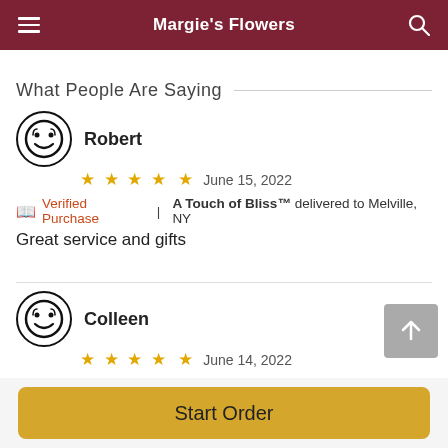Margie's Flowers
What People Are Saying
Robert ★★★★★ June 15, 2022
Verified Purchase | A Touch of Bliss™ delivered to Melville, NY
Great service and gifts
Colleen ★★★★★ June 14, 2022
Verified Purchase | Halcyon Heart™ delivered to Farmingdale, NY
Start Order